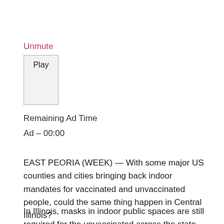Unmute
[Figure (other): Play button UI element with 'Play' label, light gray bordered box]
Remaining Ad Time
Ad – 00:00
EAST PEORIA (WEEK) — With some major US counties and cities bringing back indoor mandates for vaccinated and unvaccinated people, could the same thing happen in Central Illinois?
In Illinois, masks in indoor public spaces are still required for the unvaccinated across the state. We asked IDPH what